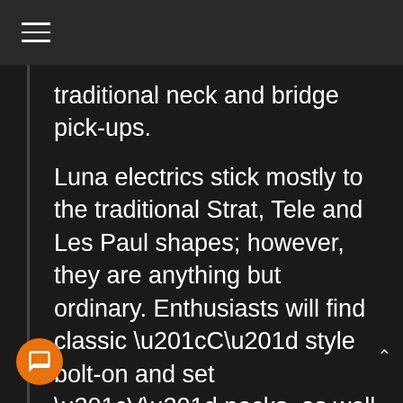≡
traditional neck and bridge pick-ups.
Luna electrics stick mostly to the traditional Strat, Tele and Les Paul shapes; however, they are anything but ordinary. Enthusiasts will find classic “C” style bolt-on and set “V” necks, as well as with the typical black, white and natural finishes. But they’ll also discover “Aqua Mist” and henna designs that resemble tattoos. The Henna Paisley STE in black, with its rosewood fingerboard and laser etched pick-guard, is particularly striking.